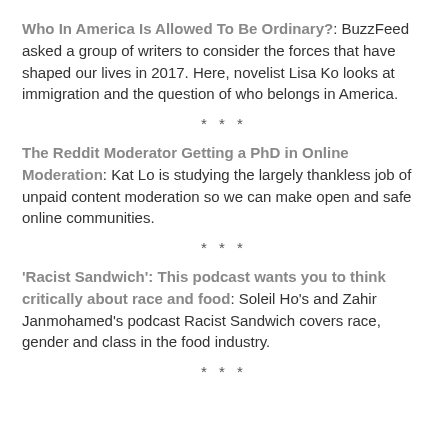Who In America Is Allowed To Be Ordinary?: BuzzFeed asked a group of writers to consider the forces that have shaped our lives in 2017. Here, novelist Lisa Ko looks at immigration and the question of who belongs in America.
* * *
The Reddit Moderator Getting a PhD in Online Moderation: Kat Lo is studying the largely thankless job of unpaid content moderation so we can make open and safe online communities.
* * *
'Racist Sandwich': This podcast wants you to think critically about race and food: Soleil Ho's and Zahir Janmohamed's podcast Racist Sandwich covers race, gender and class in the food industry.
* * *